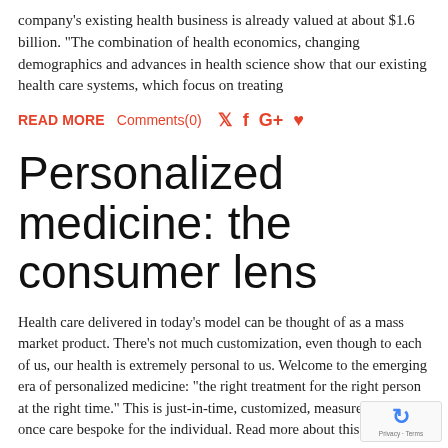company's existing health business is already valued at about $1.6 billion. "The combination of health economics, changing demographics and advances in health science show that our existing health care systems, which focus on treating
READ MORE   Comments(0)
Personalized medicine: the consumer lens
Health care delivered in today's model can be thought of as a mass market product. There's not much customization, even though to each of us, our health is extremely personal to us. Welcome to the emerging era of personalized medicine: "the right treatment for the right person at the right time." This is just-in-time, customized, measure-twice-cut-once care bespoke for the individual.   Read more about this